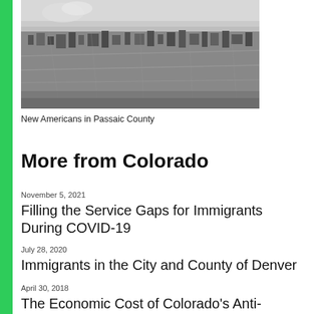[Figure (photo): Aerial black and white photograph of a densely populated urban area, showing rooftops and city blocks from above.]
New Americans in Passaic County
More from Colorado
November 5, 2021
Filling the Service Gaps for Immigrants During COVID-19
July 28, 2020
Immigrants in the City and County of Denver
April 30, 2018
The Economic Cost of Colorado's Anti-Sanctuary Ballot Initiative